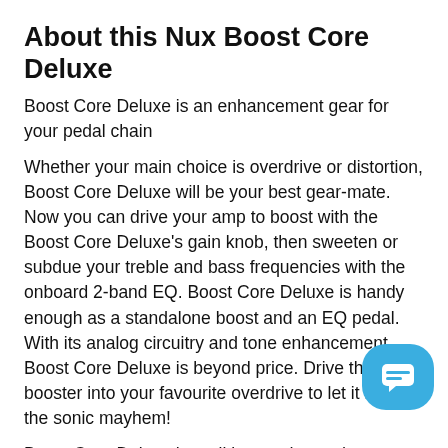About this Nux Boost Core Deluxe
Boost Core Deluxe is an enhancement gear for your pedal chain
Whether your main choice is overdrive or distortion, Boost Core Deluxe will be your best gear-mate. Now you can drive your amp to boost with the Boost Core Deluxe’s gain knob, then sweeten or subdue your treble and bass frequencies with the onboard 2-band EQ. Boost Core Deluxe is handy enough as a standalone boost and an EQ pedal. With its analog circuitry and tone enhancement, Boost Core Deluxe is beyond price. Drive the booster into your favourite overdrive to let it raise the sonic mayhem!
Boost Core Deluxe has all boosted sounds you want. Boost Core Deluxe is a Booster pedal providing you 3 types boost modes, Clean, Drive and Spark.
Clean mode is a super-transparent +20dB clean boost and it